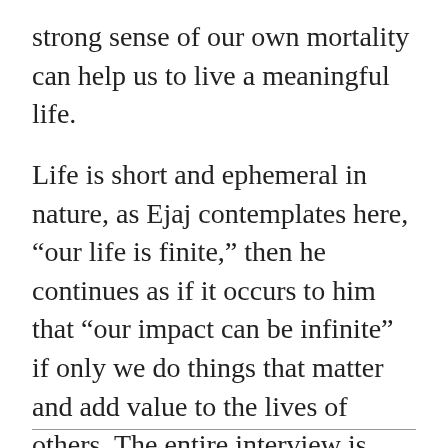strong sense of our own mortality can help us to live a meaningful life.
Life is short and ephemeral in nature, as Ejaj contemplates here, “our life is finite,” then he continues as if it occurs to him that “our impact can be infinite” if only we do things that matter and add value to the lives of others. The entire interview is sublime, insightful, and intellectually empowering. We believe Ejaj’s story will elevate you and inspire you to choose life over mere living.